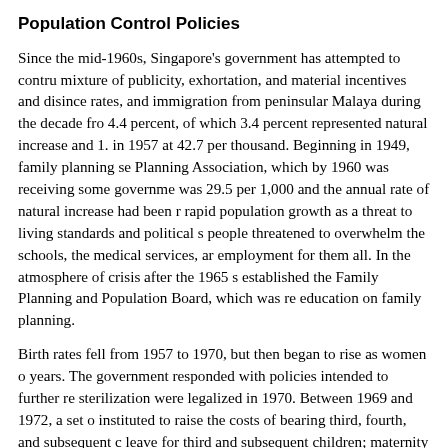Population Control Policies
Since the mid-1960s, Singapore's government has attempted to control population growth through a mixture of publicity, exhortation, and material incentives and disincentives. High birth rates, and immigration from peninsular Malaya during the decade from 1947 to 1957 had produced a growth rate of 4.4 percent, of which 3.4 percent represented natural increase and 1. [truncated]. The birth rate peaked in 1957 at 42.7 per thousand. Beginning in 1949, family planning services were offered by the Family Planning Association, which by 1960 was receiving some government funding. By 1965 the birth rate was 29.5 per 1,000 and the annual rate of natural increase had been reduced, but the government saw rapid population growth as a threat to living standards and political stability. Large numbers of young people threatened to overwhelm the schools, the medical services, and the economy's ability to find employment for them all. In the atmosphere of crisis after the 1965 separation from Malaysia, the government established the Family Planning and Population Board, which was responsible for services and education on family planning.
Birth rates fell from 1957 to 1970, but then began to rise as women of the postwar baby boom reached their childbearing years. The government responded with policies intended to further reduce birth rates. Abortion and sterilization were legalized in 1970. Between 1969 and 1972, a set of policies were instituted to raise the costs of bearing third, fourth, and subsequent children. Civil servants received no paid maternity leave for third and subsequent children; maternity hospitals charged progressively higher fees for each birth; and income tax deductions for all but the first two children were eliminated. Large families received no consideration in public housing assignments, and top priority in the enrollment of children in the most sought-after primary schools was given to only children and to children whose parents had been sterilized. Voluntary sterilization was rewarded by seven days of paid sick leave.